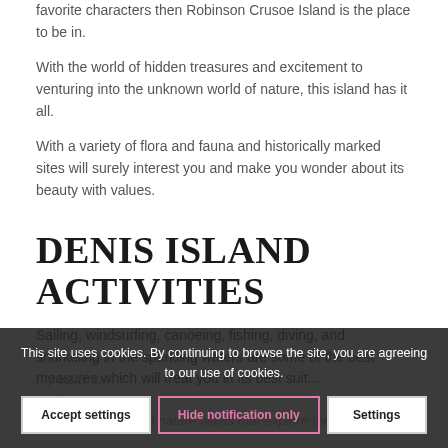favorite characters then Robinson Crusoe Island is the place to be in.
With the world of hidden treasures and excitement to venturing into the unknown world of nature, this island has it all.
With a variety of flora and fauna and historically marked sites will surely interest you and make you wonder about its beauty with values.
DENIS ISLAND ACTIVITIES
Sailing, windsurfing, canoeing, fishing, diving, and snorkeling in the sparkling waters are some of the best measures which will treat you in its best suit...
This site uses cookies. By continuing to browse the site, you are agreeing to our use of cookies.
Accept settings | Hide notification only | Settings